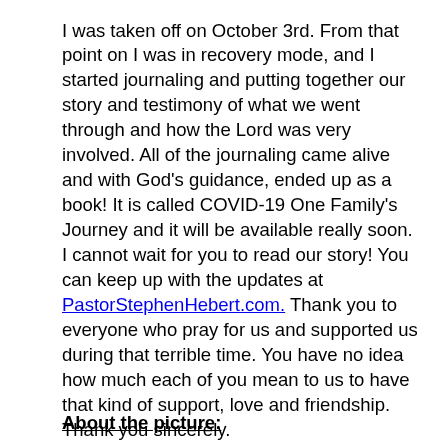I was taken off on October 3rd. From that point on I was in recovery mode, and I started journaling and putting together our story and testimony of what we went through and how the Lord was very involved. All of the journaling came alive and with God's guidance, ended up as a book! It is called COVID-19 One Family's Journey and it will be available really soon. I cannot wait for you to read our story! You can keep up with the updates at PastorStephenHebert.com. Thank you to everyone who pray for us and supported us during that terrible time. You have no idea how much each of you mean to us to have that kind of support, love and friendship. Thank you sincerely.
About the picture: